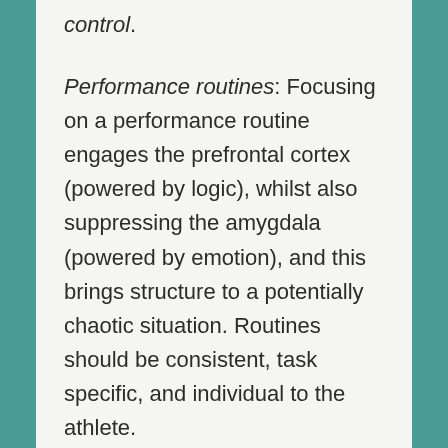control.
Performance routines: Focusing on a performance routine engages the prefrontal cortex (powered by logic), whilst also suppressing the amygdala (powered by emotion), and this brings structure to a potentially chaotic situation. Routines should be consistent, task specific, and individual to the athlete.
Visualisation: Also known as mental rehearsal, visualisation is continually running through an activity in your mind so that